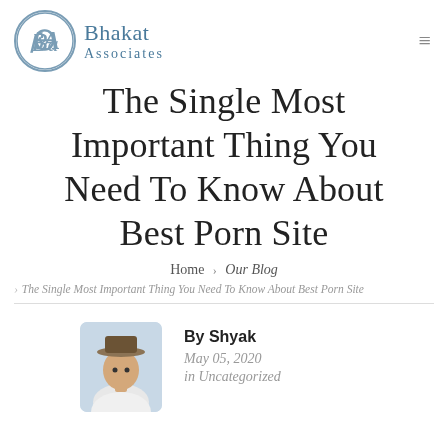[Figure (logo): Bhakat Associates logo: a circular emblem with stylized BA letters in slate blue, with the company name 'Bhakat Associates' in serif text to the right]
The Single Most Important Thing You Need To Know About Best Porn Site
Home › Our Blog
> The Single Most Important Thing You Need To Know About Best Porn Site
[Figure (photo): Author photo: a young man in a white shirt with a hat, posed casually]
By Shyak
May 05, 2020
in Uncategorized